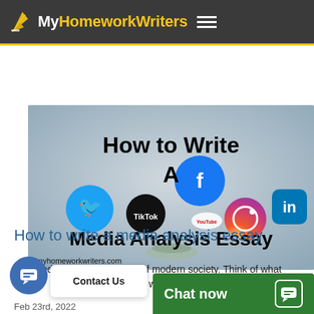MyHomeworkWriters
[Figure (illustration): Banner image showing social media icons (Twitter, TikTok, Facebook, Instagram, LinkedIn, YouTube) floating on a grey background with bold text overlay reading 'How to Write A Media Analysis Essay'. URL shown: myhomeworkwriters.com]
How to write a media analysis essay
The media is an integral part of modern society. Think of what ar... Contact Us ...f there were [...]
Feb 23rd, 2022